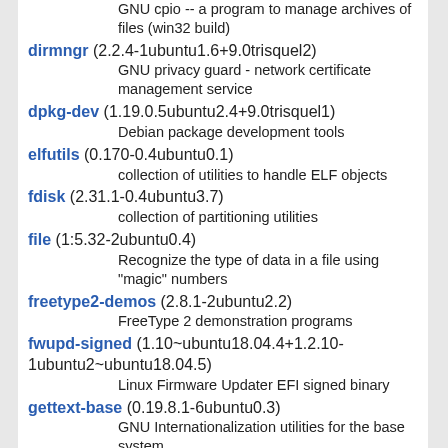GNU cpio -- a program to manage archives of files (win32 build)
dirmngr (2.2.4-1ubuntu1.6+9.0trisquel2)
GNU privacy guard - network certificate management service
dpkg-dev (1.19.0.5ubuntu2.4+9.0trisquel1)
Debian package development tools
elfutils (0.170-0.4ubuntu0.1)
collection of utilities to handle ELF objects
fdisk (2.31.1-0.4ubuntu3.7)
collection of partitioning utilities
file (1:5.32-2ubuntu0.4)
Recognize the type of data in a file using "magic" numbers
freetype2-demos (2.8.1-2ubuntu2.2)
FreeType 2 demonstration programs
fwupd-signed (1.10~ubuntu18.04.4+1.2.10-1ubuntu2~ubuntu18.04.5)
Linux Firmware Updater EFI signed binary
gettext-base (0.19.8.1-6ubuntu0.3)
GNU Internationalization utilities for the base system
giflib-tools (5.1.4-2ubuntu0.1)
library for GIF images (utilities)
gnupg (2.2.4-1ubuntu1.6+9.0trisquel2)
GNU privacy guard - a free PGP replacement
gnupg-utils (2.2.4-1ubuntu1.6+9.0trisquel2)
GNU privacy guard - utility programs